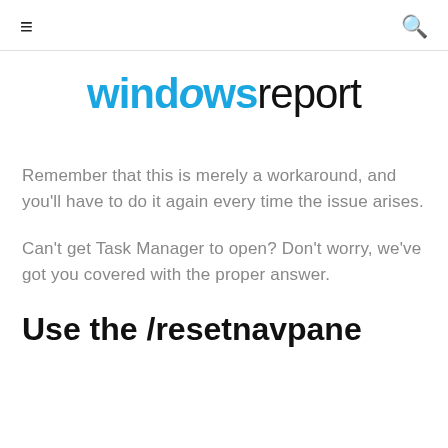≡   windowsreport   🔍
[Figure (logo): Windows Report logo with 'windows' in blue and 'report' in black]
Remember that this is merely a workaround, and you'll have to do it again every time the issue arises.
Can't get Task Manager to open? Don't worry, we've got you covered with the proper answer.
Use the /resetnavpane